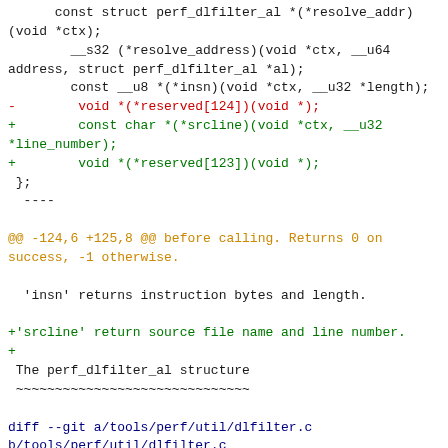Code diff showing changes to perf_dlfilter_al structure and dlfilter.c file